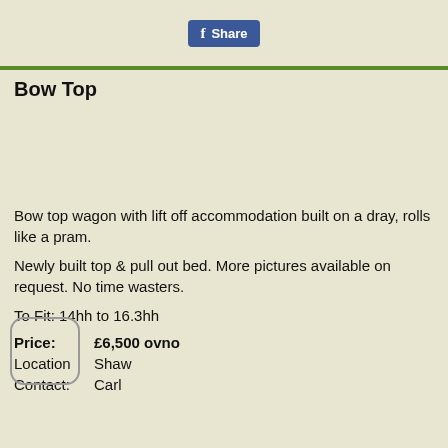[Figure (logo): Facebook Share button with f icon on blue background]
Bow Top
[Figure (photo): Image area placeholder for Bow Top wagon photo]
Bow top wagon with lift off accommodation built on a dray, rolls like a pram.
Newly built top & pull out bed. More pictures available on request. No time wasters.
To Fit: 14hh to 16.3hh
Price:   £6,500 ovno
Location   Shaw
Contact:   Carl